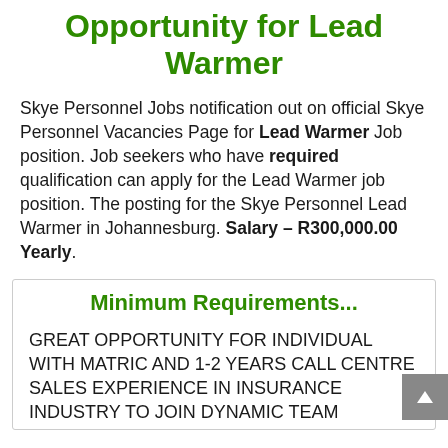Opportunity for Lead Warmer
Skye Personnel Jobs notification out on official Skye Personnel Vacancies Page for Lead Warmer Job position. Job seekers who have required qualification can apply for the Lead Warmer job position. The posting for the Skye Personnel Lead Warmer in Johannesburg. Salary – R300,000.00 Yearly.
Minimum Requirements...
GREAT OPPORTUNITY FOR INDIVIDUAL WITH MATRIC AND 1-2 YEARS CALL CENTRE SALES EXPERIENCE IN INSURANCE INDUSTRY TO JOIN DYNAMIC TEAM